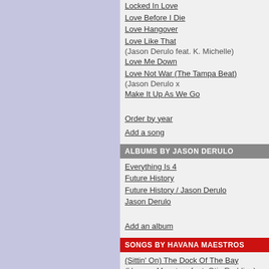Locked In Love
Love Before I Die
Love Hangover
Love Like That (Jason Derulo feat. K. Michelle)
Love Me Down
Love Not War (The Tampa Beat) (Jason Derulo x
Make It Up As We Go
Order by year
Add a song
ALBUMS BY JASON DERULO
Everything Is 4
Future History
Future History / Jason Derulo
Jason Derulo
Add an album
SONGS BY HAVANA MAESTROS
(Sittin' On) The Dock Of The Bay (Havana Maestros feat. Otis Redding)
A mi manera
Airplanes (Havana Maestros feat. B.o.B. & Hayley Williams)
Fly (Havana Maestros feat. Sugar Ray)
Get Ur Freak On (Havana Maestros feat. Missy E
Good Times (Havana Maestros feat. Chic)
Ritmo cubano
Order by year
Add a song